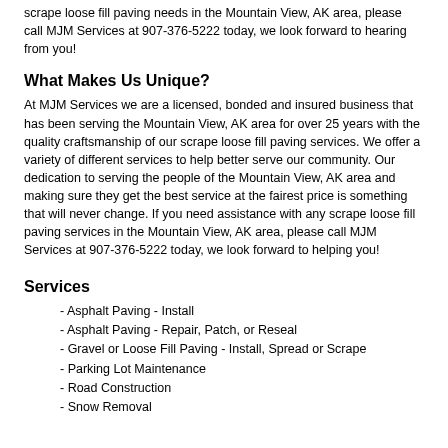scrape loose fill paving needs in the Mountain View, AK area, please call MJM Services at 907-376-5222 today, we look forward to hearing from you!
What Makes Us Unique?
At MJM Services we are a licensed, bonded and insured business that has been serving the Mountain View, AK area for over 25 years with the quality craftsmanship of our scrape loose fill paving services. We offer a variety of different services to help better serve our community. Our dedication to serving the people of the Mountain View, AK area and making sure they get the best service at the fairest price is something that will never change. If you need assistance with any scrape loose fill paving services in the Mountain View, AK area, please call MJM Services at 907-376-5222 today, we look forward to helping you!
Services
- Asphalt Paving - Install
- Asphalt Paving - Repair, Patch, or Reseal
- Gravel or Loose Fill Paving - Install, Spread or Scrape
- Parking Lot Maintenance
- Road Construction
- Snow Removal